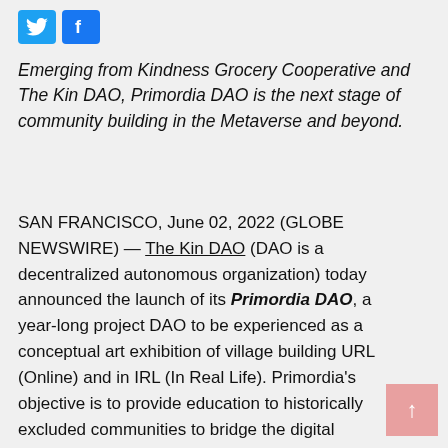[Figure (logo): Social media share icons: Twitter (blue bird) and Facebook (blue f) buttons]
Emerging from Kindness Grocery Cooperative and The Kin DAO, Primordia DAO is the next stage of community building in the Metaverse and beyond.
SAN FRANCISCO, June 02, 2022 (GLOBE NEWSWIRE) — The Kin DAO (DAO is a decentralized autonomous organization) today announced the launch of its Primordia DAO, a year-long project DAO to be experienced as a conceptual art exhibition of village building URL (Online) and in IRL (In Real Life). Primordia's objective is to provide education to historically excluded communities to bridge the digital divide by leveraging collaborative art-based solutions.